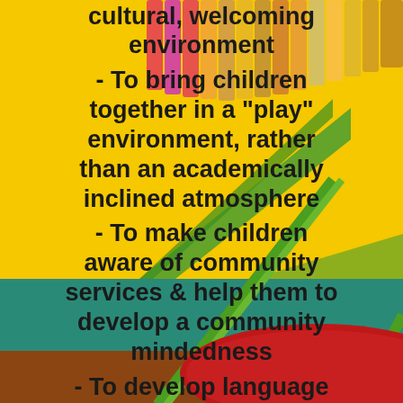[Figure (photo): Background photo of a Crayons box (yellow with green stripes, red circle with number 13) with colorful crayons visible at the top, set against a light blue border.]
cultural, welcoming environment
- To bring children together in a "play" environment, rather than an academically inclined atmosphere
- To make children aware of community services & help them to develop a community mindedness
- To develop language skills
- To develop an awareness of art